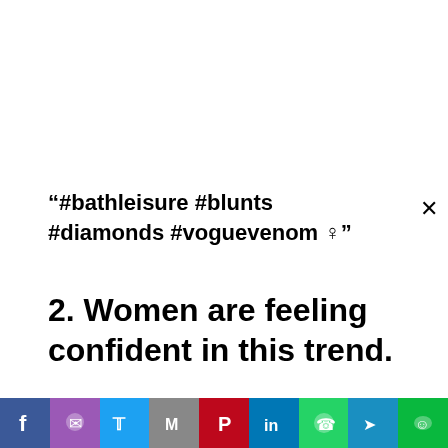“#bathleisure #blunts #diamonds #voguevenom ♀︎”
2. Women are feeling confident in this trend.
i prefer to come from a place of no . . ♀︎ #BathLeisure
382 Likes, 6 Comments – C A S S E Y (@carolynvann) on Instagram: “i prefer to
Social share bar: Facebook, Messenger, Twitter, Gmail, Pinterest, LinkedIn, WhatsApp, Telegram, WeChat